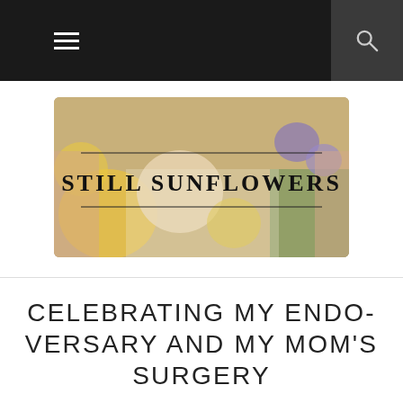Still Sunflowers — navigation bar
[Figure (logo): Still Sunflowers blog logo with floral background (sunflowers, roses, purple flowers) and text 'Still Sunflowers' in serif font with decorative horizontal lines above and below]
CELEBRATING MY ENDO-VERSARY AND MY MOM'S SURGERY